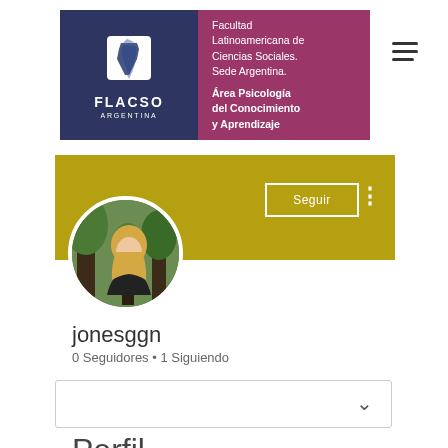[Figure (logo): FLACSO Argentina logo with navy blue square containing South America map silhouette, white text FLACSO ARGENTINA, and adjacent berry/magenta panel with text Facultad Latinoamericana de Ciencias Sociales. Sede Argentina. Área Psicología del Conocimiento y Aprendizaje]
[Figure (screenshot): Social media profile page screenshot showing gold banner header with Seguir (Follow) button, circular profile photo of blonde woman in black outfit in front of trees, username jonesggn, 0 Seguidores and 1 Siguiendo stats, a collapsed white box with chevron, and truncated Perfil heading at bottom]
jonesggn
0 Seguidores • 1 Siguiendo
Perfil